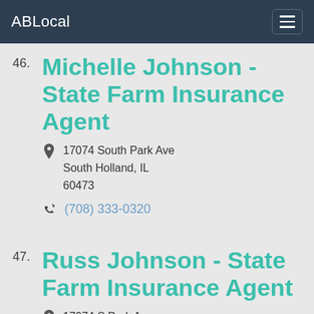ABLocal
46. Michelle Johnson - State Farm Insurance Agent
17074 South Park Ave
South Holland, IL
60473
(708) 333-0320
47. Russ Johnson - State Farm Insurance Agent
17074 S Park Ave
South Holland, IL
60473